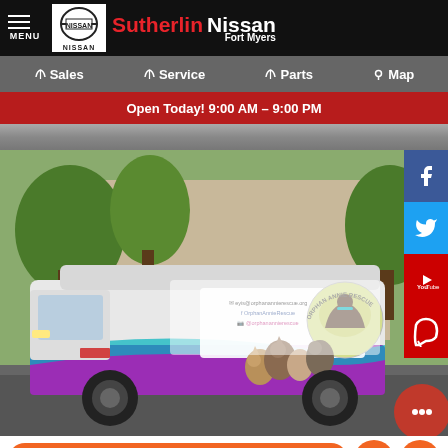MENU | Sutherlin Nissan Fort Myers
Sales | Service | Parts | Map
Open Today! 9:00 AM – 9:00 PM
[Figure (photo): Top partial view of an asphalt parking lot surface]
[Figure (photo): A white and purple Orphan Annie Rescue branded van parked in a lot with trees in background. The van has contact info: eyis@orphanannierescue.org, OrphanAnnieRescue, @orphanannierescue, and the Orphan Annie Rescue logo showing a dog silhouette.]
Text en Español